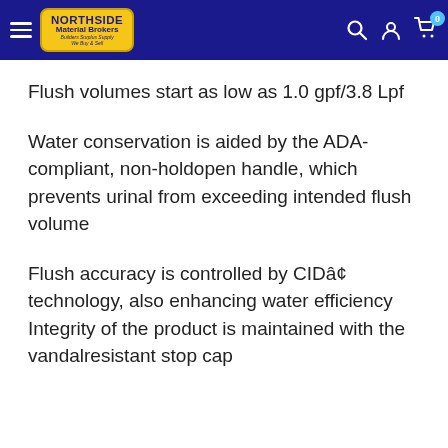Northside Material Brokers – navigation header with logo, search, account, and cart icons
Flush volumes start as low as 1.0 gpf/3.8 Lpf
Water conservation is aided by the ADA-compliant, non-holdopen handle, which prevents urinal from exceeding intended flush volume
Flush accuracy is controlled by CIDâ¢ technology, also enhancing water efficiency Integrity of the product is maintained with the vandalresistant stop cap